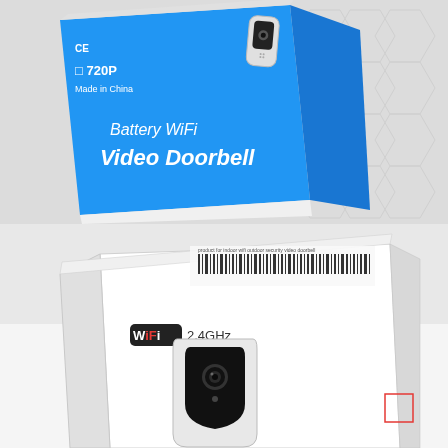[Figure (photo): Top half: A blue product retail box for a '720P Battery WiFi Video Doorbell'. The box is shown at an angle on a white surface with a faint hexagonal pattern background. The box has white text including '720P', 'Made in China', CE mark, and 'Battery WiFi Video Doorbell' in large text.]
[Figure (photo): Bottom half: A white product box shown at an angle with a barcode label on top. The front of the box shows a 'WiFi 2.4GHz' logo/label and an image of a white video doorbell device with a black camera lens panel. A small red square sticker is visible on the right side.]